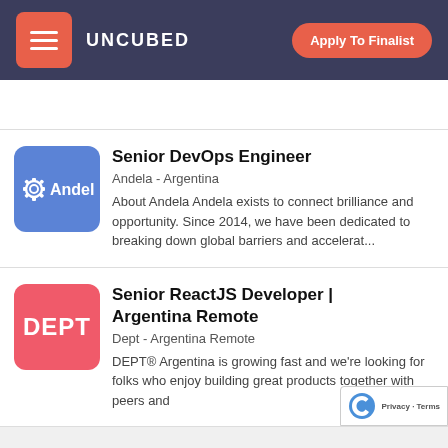UNCUBED — Apply To Finalist
Senior DevOps Engineer
Andela - Argentina
About Andela Andela exists to connect brilliance and opportunity. Since 2014, we have been dedicated to breaking down global barriers and accelerat...
Senior ReactJS Developer | Argentina Remote
Dept - Argentina Remote
DEPT® Argentina is growing fast and we're looking for folks who enjoy building great products together with peers and...